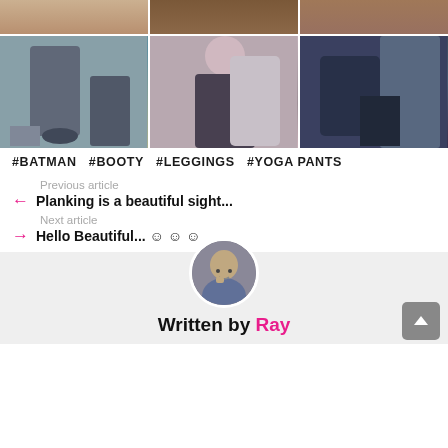[Figure (photo): Grid of 6 photos showing people in leggings/yoga pants (top row partial, bottom row full)]
#BATMAN  #BOOTY  #LEGGINGS  #YOGA PANTS
Previous article
← Planking is a beautiful sight...
Next article
→ Hello Beautiful... ☺ ☺ ☺
[Figure (photo): Circular avatar photo of author Ray]
Written by Ray